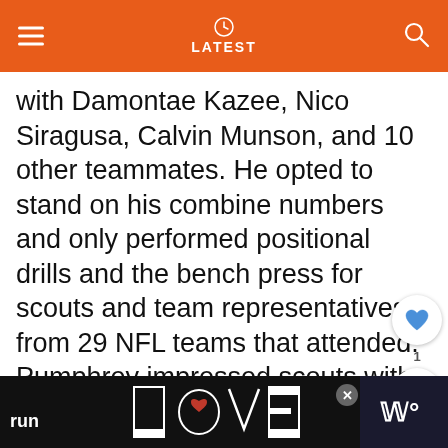LATEST
with Damontae Kazee, Nico Siragusa, Calvin Munson, and 10 other teammates. He opted to stand on his combine numbers and only performed positional drills and the bench press for scouts and team representatives from 29 NFL teams that attended. Pumphrey impressed scouts with his receiving out of the backfield and ability to run during running back drills. At the conclusion of the pre-draft process, Pumphrey was projected to be a four round pick by the majority of NFL draft experts and scouts. He was ranked as the 14th best run
[Figure (screenshot): Mobile app UI overlay with heart/like button, share button, badge count of 1, and 'What's Next' panel showing Emily Willis Net Worth...]
[Figure (photo): Bottom advertisement banner with LOVE text logo in decorative style, close button, and right-side icon]
run